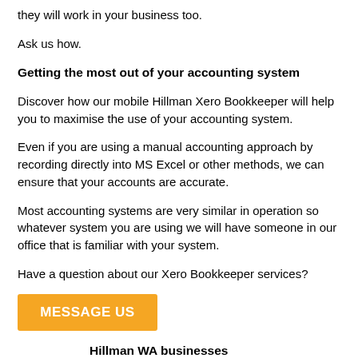they will work in your business too.
Ask us how.
Getting the most out of your accounting system
Discover how our mobile Hillman Xero Bookkeeper will help you to maximise the use of your accounting system.
Even if you are using a manual accounting approach by recording directly into MS Excel or other methods, we can ensure that your accounts are accurate.
Most accounting systems are very similar in operation so whatever system you are using we will have someone in our office that is familiar with your system.
Have a question about our Xero Bookkeeper services?
[Figure (other): Orange button with text MESSAGE US]
[Figure (other): Green circular phone/call icon button]
Hillman WA businesses
There are a good number of quality businesses in and servicing